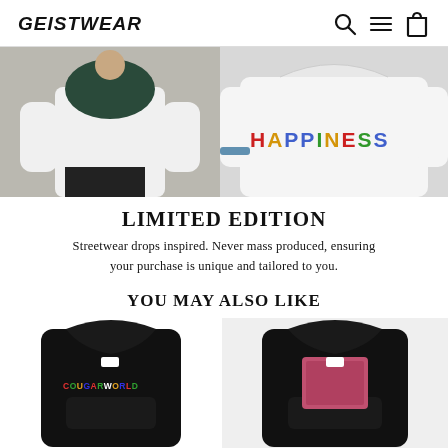GEISTWEAR
[Figure (photo): Two fashion photos side by side: left shows a person in a white hoodie and dark pants, right shows a person wearing a white sweatshirt with 'HAPPINESS' written in colorful letters]
LIMITED EDITION
Streetwear drops inspired. Never mass produced, ensuring your purchase is unique and tailored to you.
YOU MAY ALSO LIKE
[Figure (photo): Black hoodie with 'COUGARWORLD' text in colorful letters on the front]
[Figure (photo): Black hoodie with a graphic print on the front]